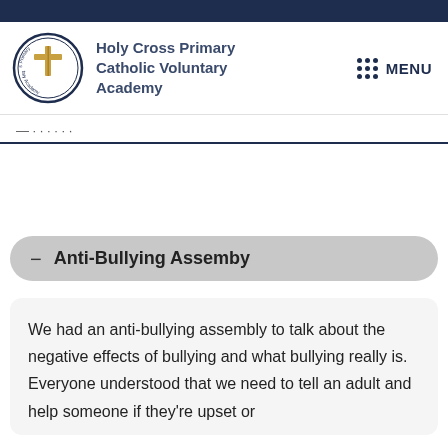Holy Cross Primary Catholic Voluntary Academy
Anti-Bullying Assemby
We had an anti-bullying assembly to talk about the negative effects of bullying and what bullying really is.  Everyone understood that we need to tell an adult and help someone if they're upset or getting bullied. Alfred (Year 2)